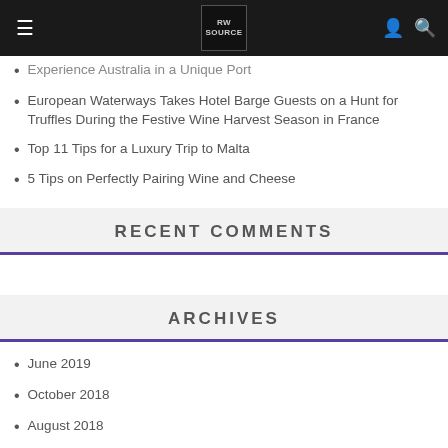RW SOURCE [logo]
Experience Australia in a Unique Port
European Waterways Takes Hotel Barge Guests on a Hunt for Truffles During the Festive Wine Harvest Season in France
Top 11 Tips for a Luxury Trip to Malta
5 Tips on Perfectly Pairing Wine and Cheese
RECENT COMMENTS
ARCHIVES
June 2019
October 2018
August 2018
April 2018